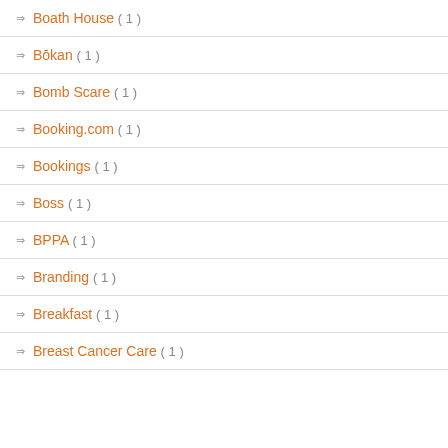Boath House ( 1 )
Bōkan ( 1 )
Bomb Scare ( 1 )
Booking.com ( 1 )
Bookings ( 1 )
Boss ( 1 )
BPPA ( 1 )
Branding ( 1 )
Breakfast ( 1 )
Breast Cancer Care ( 1 )